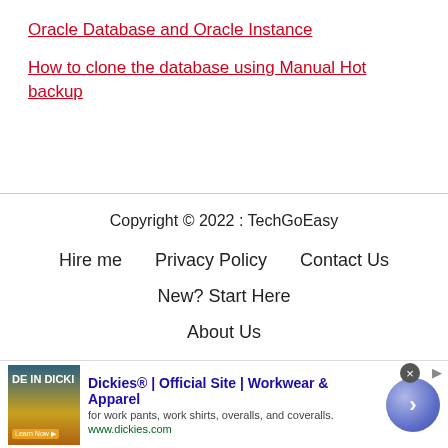Oracle Database and Oracle Instance
How to clone the database using Manual Hot backup
Copyright © 2022 : TechGoEasy
Hire me   Privacy Policy   Contact Us   New? Start Here   About Us
[Figure (other): Advertisement banner: Dickies® | Official Site | Workwear & Apparel — for work pants, work shirts, overalls, and coveralls. www.dickies.com]